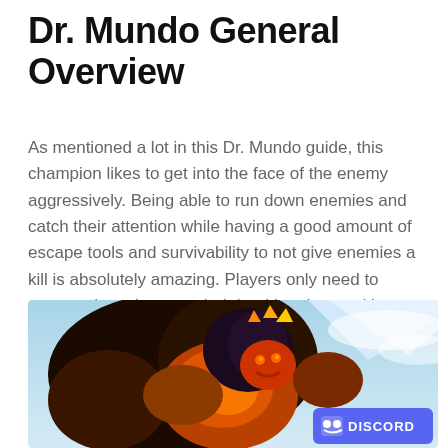Dr. Mundo General Overview
As mentioned a lot in this Dr. Mundo guide, this champion likes to get into the face of the enemy aggressively. Being able to run down enemies and catch their attention while having a good amount of escape tools and survivability to not give enemies a kill is absolutely amazing. Players only need to manage how they use their health points and learn not to be afraid when they are low on HP.
[Figure (photo): Dr. Mundo champion splash art from League of Legends showing the character in an orange and red armored costume with a Discord badge overlay in the bottom right corner]